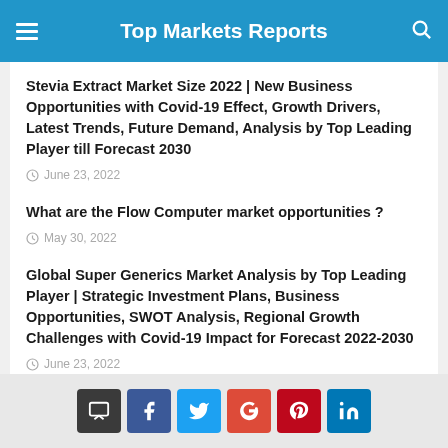Top Markets Reports
Stevia Extract Market Size 2022 | New Business Opportunities with Covid-19 Effect, Growth Drivers, Latest Trends, Future Demand, Analysis by Top Leading Player till Forecast 2030
June 23, 2022
What are the Flow Computer market opportunities ?
May 30, 2022
Global Super Generics Market Analysis by Top Leading Player | Strategic Investment Plans, Business Opportunities, SWOT Analysis, Regional Growth Challenges with Covid-19 Impact for Forecast 2022-2030
June 23, 2022